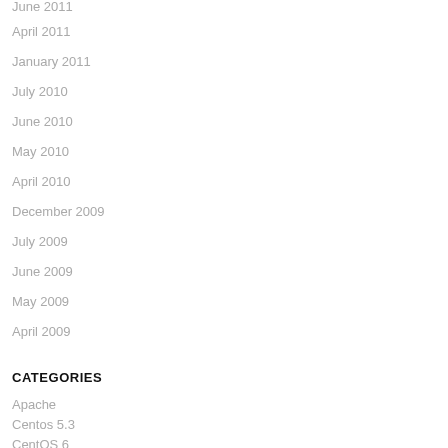June 2011
April 2011
January 2011
July 2010
June 2010
May 2010
April 2010
December 2009
July 2009
June 2009
May 2009
April 2009
CATEGORIES
Apache
Centos 5.3
CentOS 6